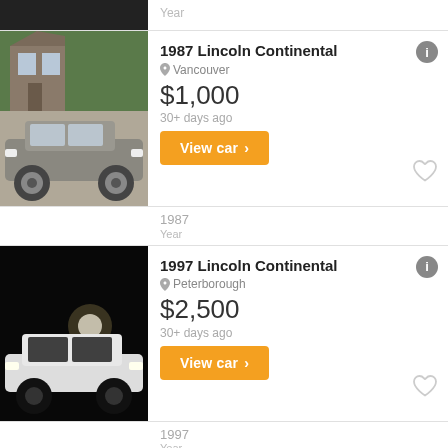Year
1987 Lincoln Continental
Vancouver
$1,000
30+ days ago
View car
1987
Year
1997 Lincoln Continental
Peterborough
$2,500
30+ days ago
View car
1997
Year
Lincoln Continental Gasoline
Bathurst
$11,000